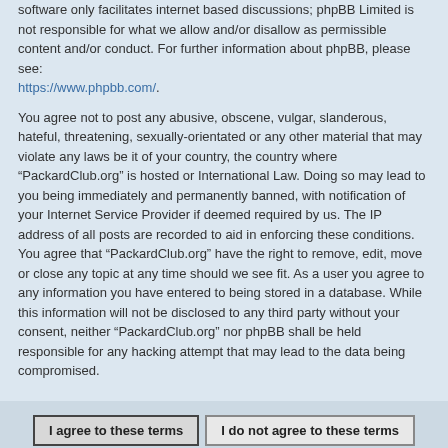software only facilitates internet based discussions; phpBB Limited is not responsible for what we allow and/or disallow as permissible content and/or conduct. For further information about phpBB, please see: https://www.phpbb.com/.
You agree not to post any abusive, obscene, vulgar, slanderous, hateful, threatening, sexually-orientated or any other material that may violate any laws be it of your country, the country where “PackardClub.org” is hosted or International Law. Doing so may lead to you being immediately and permanently banned, with notification of your Internet Service Provider if deemed required by us. The IP address of all posts are recorded to aid in enforcing these conditions. You agree that “PackardClub.org” have the right to remove, edit, move or close any topic at any time should we see fit. As a user you agree to any information you have entered to being stored in a database. While this information will not be disclosed to any third party without your consent, neither “PackardClub.org” nor phpBB shall be held responsible for any hacking attempt that may lead to the data being compromised.
I agree to these terms | I do not agree to these terms
Board index   Contact us   Delete cookies   All times are UTC-08:00
Powered by phpBB® Forum Software © phpBB Limited   Privacy | Terms